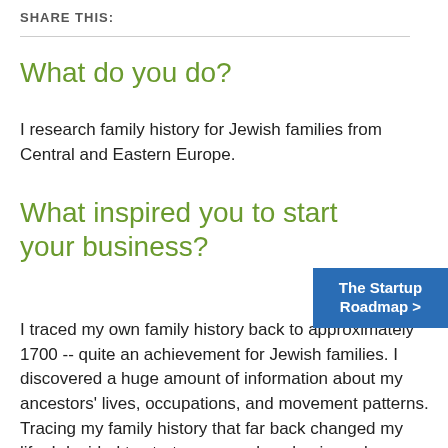SHARE THIS:
What do you do?
I research family history for Jewish families from Central and Eastern Europe.
What inspired you to start your business?
The Startup Roadmap >
I traced my own family history back to approximately 1700 -- quite an achievement for Jewish families. I discovered a huge amount of information about my ancestors' lives, occupations, and movement patterns. Tracing my family history that far back changed my life. I decided to start my genealogy business because I want to share those benefits for close-giving about t